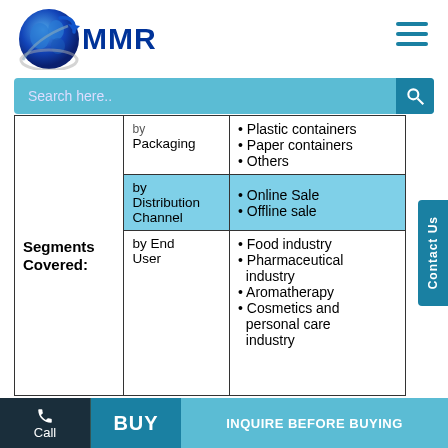MMR
| Segments Covered: | Category | Values |
| --- | --- | --- |
|  | by Packaging | • Plastic containers
• Paper containers
• Others |
| Segments Covered: | by Distribution Channel | • Online Sale
• Offline sale |
|  | by End User | • Food industry
• Pharmaceutical industry
• Aromatherapy
• Cosmetics and personal care industry |
Call | BUY | INQUIRE BEFORE BUYING